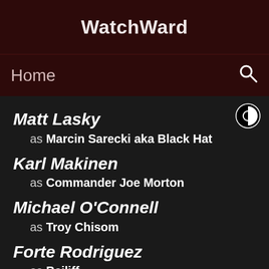WatchWard
Home
Matt Lasky as Marcin Sarecki aka Black Hat
Karl Makinen as Commander Joe Morton
Michael O'Connell as Troy Chisom
Forte Rodriguez as Bailiff
Cindy Choi